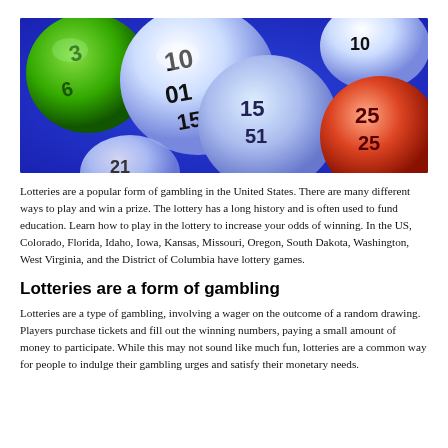[Figure (photo): Colorful lottery balls floating against a blue background. Visible numbers include 10, 15, 25, and others. Balls are green, white, light blue, and red/orange.]
Lotteries are a popular form of gambling in the United States. There are many different ways to play and win a prize. The lottery has a long history and is often used to fund education. Learn how to play in the lottery to increase your odds of winning. In the US, Colorado, Florida, Idaho, Iowa, Kansas, Missouri, Oregon, South Dakota, Washington, West Virginia, and the District of Columbia have lottery games.
Lotteries are a form of gambling
Lotteries are a type of gambling, involving a wager on the outcome of a random drawing. Players purchase tickets and fill out the winning numbers, paying a small amount of money to participate. While this may not sound like much fun, lotteries are a common way for people to indulge their gambling urges and satisfy their monetary needs.